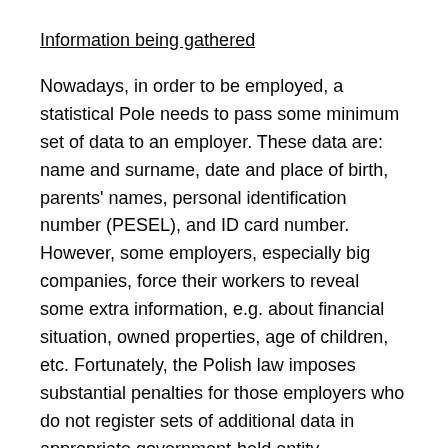Information being gathered
Nowadays, in order to be employed, a statistical Pole needs to pass some minimum set of data to an employer. These data are: name and surname, date and place of birth, parents' names, personal identification number (PESEL), and ID card number. However, some employers, especially big companies, force their workers to reveal some extra information, e.g. about financial situation, owned properties, age of children, etc. Fortunately, the Polish law imposes substantial penalties for those employers who do not register sets of additional data in appropriate government-held entity.
Identification methods
The vast majority of Polish firms do not use any means to identify its workers. Nevertheless, bigger companies have implemented a system of personal ID cards with the unique